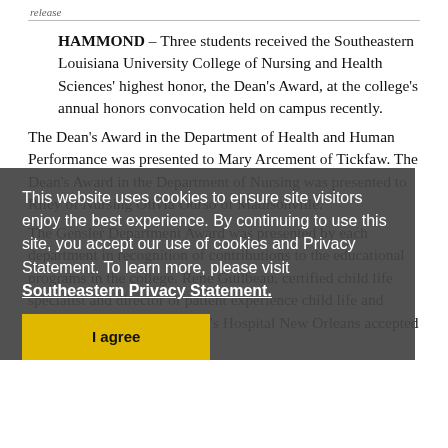release
HAMMOND – Three students received the Southeastern Louisiana University College of Nursing and Health Sciences' highest honor, the Dean's Award, at the college's annual honors convocation held on campus recently.

The Dean's Award in the Department of Health and Human Performance was presented to Mary Arcement of Tickfaw. The Dean's Award in the Department of Nursing was presented to Riley of Nursing Olivia Ourso of Madisonville.

The Gensler Department Award was presented by each department in recognition of contributions to the educational programs in the college. Rene Guilbeau, certified child life specialist and director of patient experience child life and creative therapies at Children's Hospital New Orleans accepted the award
This website uses cookies to ensure site visitors enjoy the best experience. By continuing to use this site, you accept our use of cookies and Privacy Statement. To learn more, please visit
Southeastern Privacy Statement.
I agree